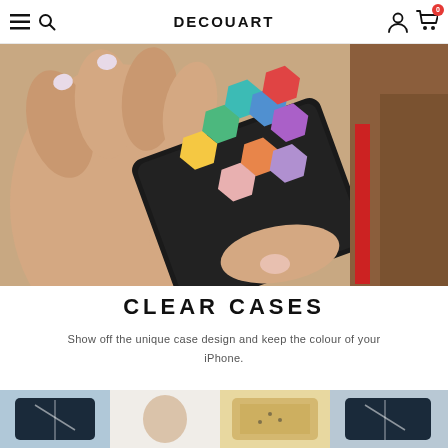DECOUART navigation bar with menu, search, logo, account, and cart icons
[Figure (photo): Close-up photo of hands holding a smartphone with a colorful hexagonal geometric pattern phone case in black leather wallet case]
CLEAR CASES
Show off the unique case design and keep the colour of your iPhone.
[Figure (photo): Bottom strip showing multiple clear phone cases with various designs]